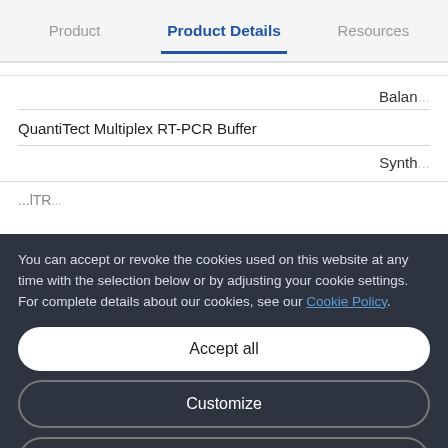Product | Product Details | Resources
Balan...
QuantiTect Multiplex RT-PCR Buffer
Synthe...
You can accept or revoke the cookies used on this website at any time with the selection below or by adjusting your cookie settings. For complete details about our cookies, see our Cookie Policy.
Accept all
Customize
Only necessary